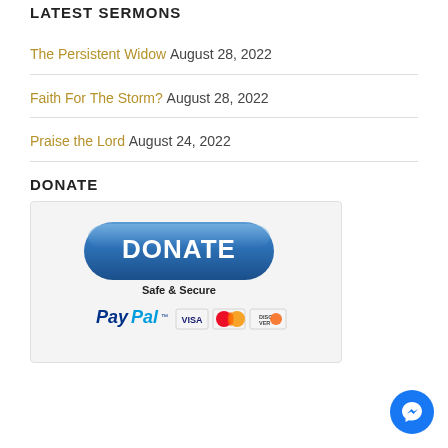LATEST SERMONS
The Persistent Widow August 28, 2022
Faith For The Storm? August 28, 2022
Praise the Lord August 24, 2022
DONATE
[Figure (infographic): PayPal Donate button graphic showing a blue pill-shaped DONATE button, 'Safe & Secure' text, PayPal logo, Visa, MasterCard, and Discover card logos]